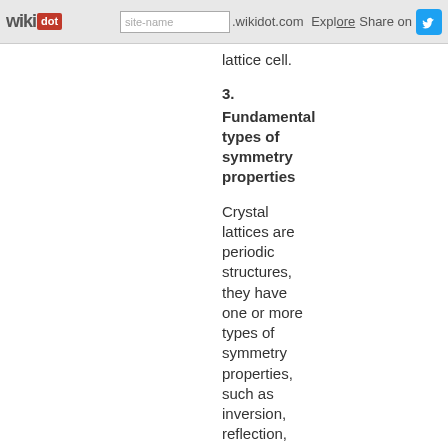wikidot | site-name .wikidot.com | Explore | Share on
lattice cell.
3. Fundamental types of symmetry properties
Crystal lattices are periodic structures, they have one or more types of symmetry properties, such as inversion, reflection, rotation. Table 3.1 summarized the